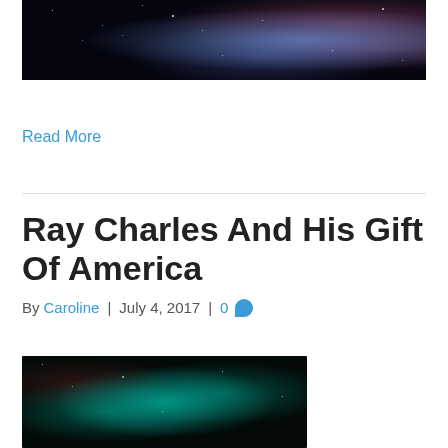[Figure (photo): Top portion of a space/nebula image showing colorful blue and pink gas clouds against a black starfield]
Read More
Ray Charles And His Gift Of America
By Caroline | July 4, 2017 | 0 [comment]
[Figure (photo): Lower space/nebula image showing teal/cyan colored gas cloud structure against a black starfield]